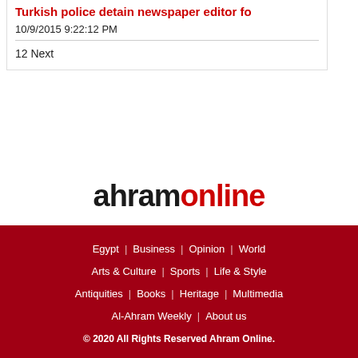Turkish police detain newspaper editor fo
10/9/2015 9:22:12 PM
12 Next
[Figure (logo): Ahram Online logo — 'ahram' in black bold and 'online' in red bold]
Egypt  Business  Opinion  World  Arts & Culture  Sports  Life & Style  Antiquities  Books  Heritage  Multimedia  Al-Ahram Weekly  About us  © 2020 All Rights Reserved Ahram Online.